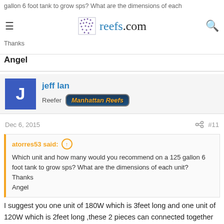gallon 6 foot tank to grow sps? What are the dimensions of each unit? Thanks
Angel
jeff lan
Reefer  Manhattan Reefs
Dec 6, 2015  #11
atorres53 said:
Which unit and how many would you recommend on a 125 gallon 6 foot tank to grow sps? What are the dimensions of each unit?
Thanks
Angel
I suggest you one unit of 180W which is 3feet long and one unit of 120W which is 2feet long ,these 2 pieces can connected together without any gap, with the help of our brackets it's definitely suitable for your 6feet long tank ?or you can tell me the exact width of your tank ,I will give you another plan